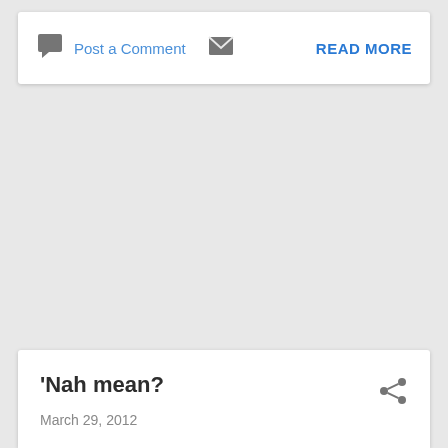Post a Comment
READ MORE
'Nah mean?
March 29, 2012